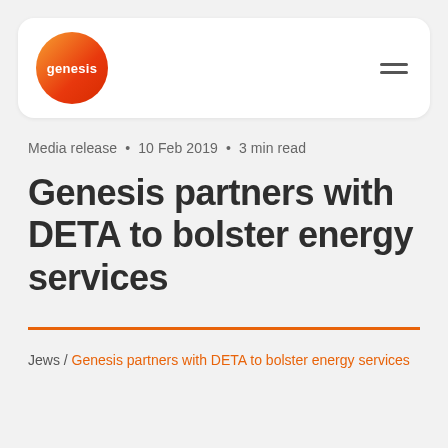[Figure (logo): Genesis Energy logo: orange-red gradient circle with white 'genesis' text]
Media release • 10 Feb 2019 • 3 min read
Genesis partners with DETA to bolster energy services
Jews / Genesis partners with DETA to bolster energy services